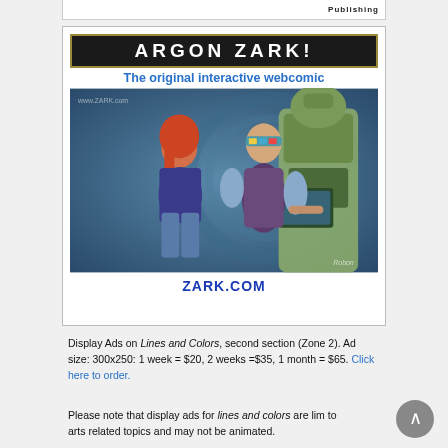[Figure (other): Top bar with 'Publishing' text, partial header]
[Figure (illustration): Argon Zark! advertisement box. Title bar reads 'ARGON ZARK!' in white text on black background with gold border. Subtitle: 'The original interactive webcomic' in blue. Comic illustration showing two human figures (woman with red hair in blue top, man with multicolored headband in vest) facing a large robot/mechanical figure at a computer terminal. URL 'ZARK.COM' in bold blue text at bottom.]
Display Ads on Lines and Colors, second section (Zone 2). Ad size: 300x250: 1 week = $20, 2 weeks =$35, 1 month = $65. Click here to order.
Please note that display ads for lines and colors are limited to arts related topics and may not be animated.